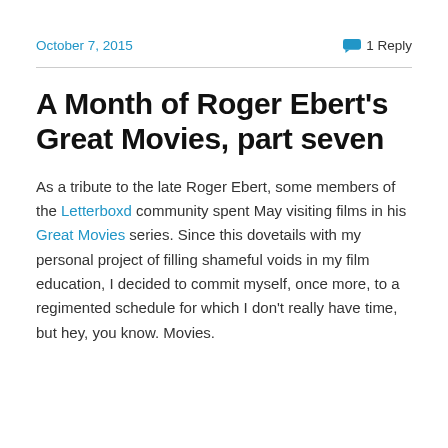October 7, 2015    1 Reply
A Month of Roger Ebert's Great Movies, part seven
As a tribute to the late Roger Ebert, some members of the Letterboxd community spent May visiting films in his Great Movies series. Since this dovetails with my personal project of filling shameful voids in my film education, I decided to commit myself, once more, to a regimented schedule for which I don't really have time, but hey, you know. Movies.